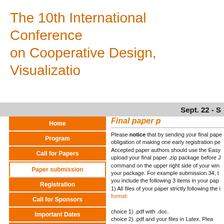The 10th International Conference on Cooperative Design, Visualizatio
Sept. 22 - S
Home
Program
Call for Papers
Paper submission
Registration
Call for Sponsors
Important Dates
Venue
Program Committee
Organizing Committee
Final paper p
Please notice that by sending your final pape obligation of making one early registration pe Accepted paper authors should use the Easy upload your final paper .zip package before J command on the upper right side of your win your package. For example submission 34, t you include the following 3 items in your pap 1) All files of your paper strictly following the format: choice 1) .pdf with .doc. choice 2) .pdf and your files in Latex. Plea